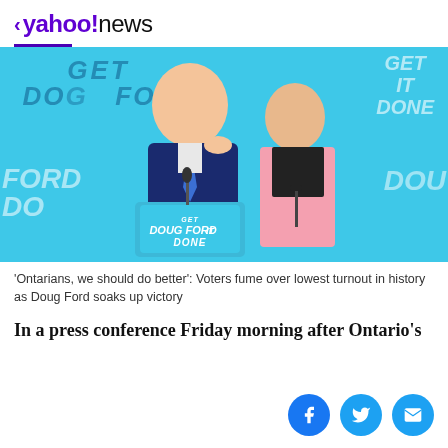< yahoo!news
[Figure (photo): Doug Ford standing at a podium with 'GET DOUG FORD IT DONE' sign, accompanied by a woman in a pink blazer, in front of a light blue background with campaign slogans]
'Ontarians, we should do better': Voters fume over lowest turnout in history as Doug Ford soaks up victory
In a press conference Friday morning after Ontario's